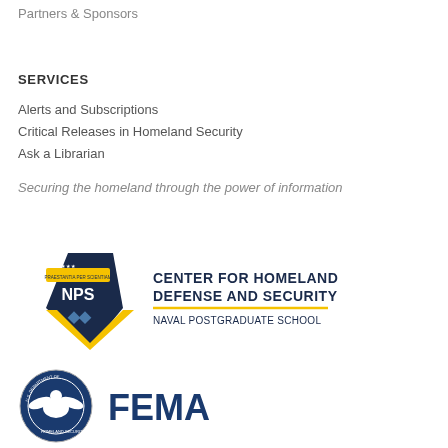Partners & Sponsors
SERVICES
Alerts and Subscriptions
Critical Releases in Homeland Security
Ask a Librarian
Securing the homeland through the power of information
[Figure (logo): Center for Homeland Defense and Security, Naval Postgraduate School logo with NPS shield emblem]
[Figure (logo): FEMA logo with U.S. Department of Homeland Security seal]